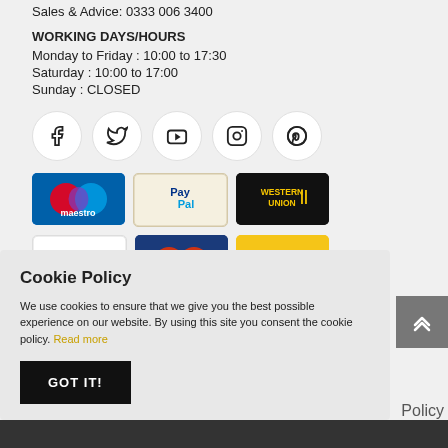Sales & Advice: 0333 006 3400
WORKING DAYS/HOURS
Monday to Friday : 10:00 to 17:30
Saturday : 10:00 to 17:00
Sunday : CLOSED
[Figure (infographic): Five social media icon buttons in circles: Facebook, Twitter, YouTube, Instagram, Pinterest]
[Figure (infographic): Payment method logos in two rows: Maestro, PayPal, Western Union (top row); Visa, Cirrus, eBay (bottom row)]
Cookie Policy
We use cookies to ensure that we give you the best possible experience on our website. By using this site you consent the cookie policy. Read more
GOT IT!
Policy